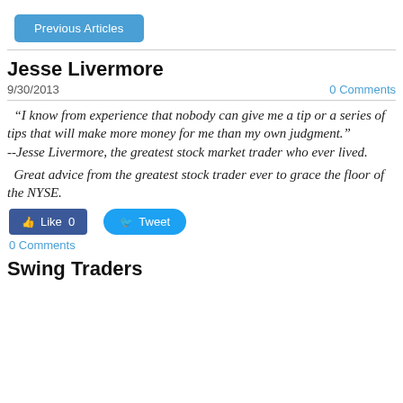[Figure (other): Blue 'Previous Articles' button]
Jesse Livermore
9/30/2013
0 Comments
“I know from experience that nobody can give me a tip or a series of tips that will make more money for me than my own judgment.”
--Jesse Livermore, the greatest stock market trader who ever lived.
Great advice from the greatest stock trader ever to grace the floor of the NYSE.
[Figure (other): Facebook Like button (0) and Twitter Tweet button]
0 Comments
Swing Traders